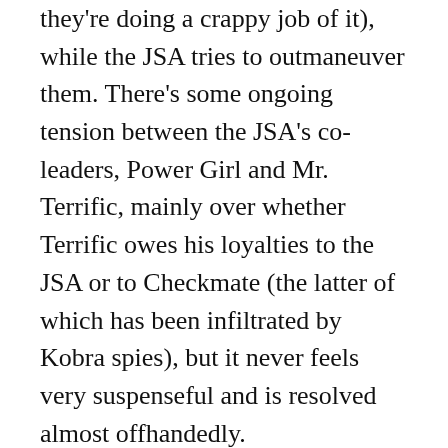they're doing a crappy job of it), while the JSA tries to outmaneuver them. There's some ongoing tension between the JSA's co-leaders, Power Girl and Mr. Terrific, mainly over whether Terrific owes his loyalties to the JSA or to Checkmate (the latter of which has been infiltrated by Kobra spies), but it never feels very suspenseful and is resolved almost offhandedly.
Eric S. Trautmann's script (he's an author I've never heard of before this series) is pretty mechanical, and Don Kramer's pencils are pretty but not very dynamic. He does seem to meet one of the main criteria for a JSA penciller, though, that being an ability to put Power Girl's chest front-and-center: